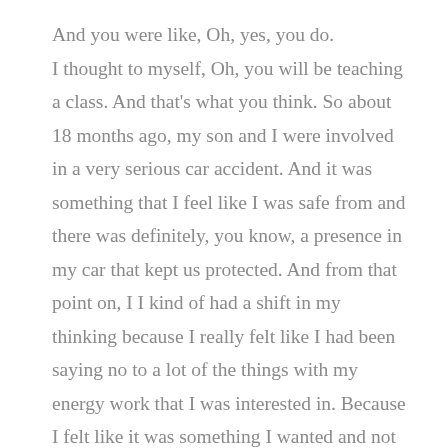And you were like, Oh, yes, you do. I thought to myself, Oh, you will be teaching a class. And that's what you think. So about 18 months ago, my son and I were involved in a very serious car accident. And it was something that I feel like I was safe from and there was definitely, you know, a presence in my car that kept us protected. And from that point on, I I kind of had a shift in my thinking because I really felt like I had been saying no to a lot of the things with my energy work that I was interested in. Because I felt like it was something I wanted and not something